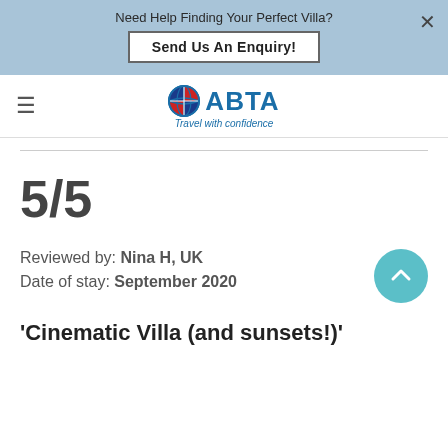Need Help Finding Your Perfect Villa? Send Us An Enquiry!
[Figure (logo): ABTA logo with globe icon and tagline 'Travel with confidence']
5/5
Reviewed by: Nina H, UK
Date of stay: September 2020
'Cinematic Villa (and sunsets!'